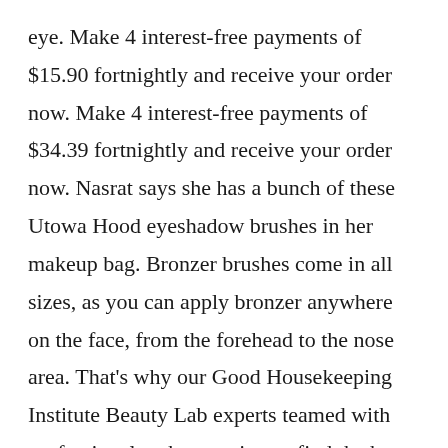eye. Make 4 interest-free payments of $15.90 fortnightly and receive your order now. Make 4 interest-free payments of $34.39 fortnightly and receive your order now. Nasrat says she has a bunch of these Utowa Hood eyeshadow brushes in her makeup bag. Bronzer brushes come in all sizes, as you can apply bronzer anywhere on the face, from the forehead to the nose area. That's why our Good Housekeeping Institute Beauty Lab experts teamed with professional makeup artists to find the best makeup brushes on the market. The 34-piece kit contains brushes for eyes and face, as well as a red beauty sponge applicator. Each of e.l.f. Cosmetics makeup brush kits are designed to create picture perfect, eye, lip, and face looks. Make 4 interest-free payments of $4.06 fortnightly and receive your